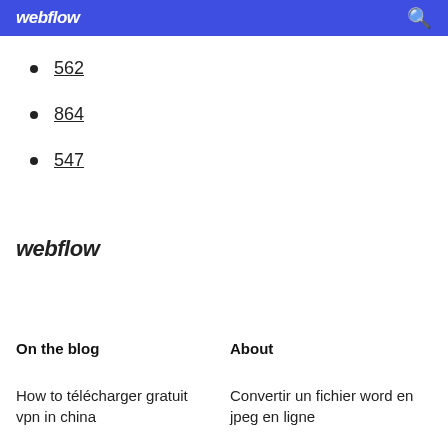webflow
562
864
547
webflow
On the blog
About
How to télécharger gratuit vpn in china
Convertir un fichier word en jpeg en ligne